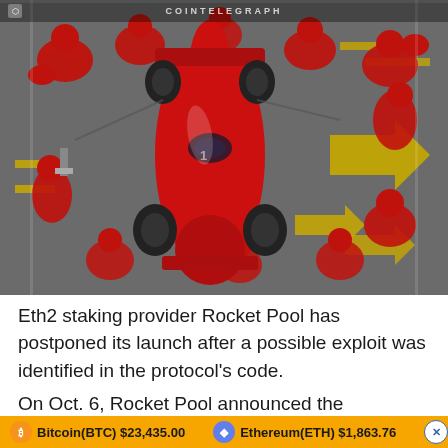[Figure (illustration): Aerial/top-down illustrated view of a Formula 1 red race car in a pit stop, surrounded by mechanics in red uniforms. Yellow directional arrows are painted on the grey track surface. Style is comic/graphic art. Cointelegraph watermark at top center.]
Eth2 staking provider Rocket Pool has postponed its launch after a possible exploit was identified in the protocol's code.
On Oct. 6, Rocket Pool announced the postponement while the team implements a fix for the bug. Rocket
Bitcoin(BTC) $23,435.00   Ethereum(ETH) $1,863.76   XRP